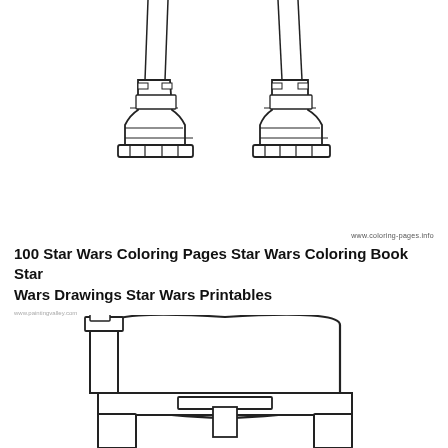[Figure (illustration): Two pairs of boots/feet from a Star Wars character (stormtrooper or similar) shown from the front, line art coloring page style]
www.coloring-pages.info
100 Star Wars Coloring Pages Star Wars Coloring Book Star Wars Drawings Star Wars Printables
www.paintingvalley.com
[Figure (illustration): Boba Fett / Mandalorian helmet line art coloring page, front view, with T-shaped visor and rectangular ear pieces]